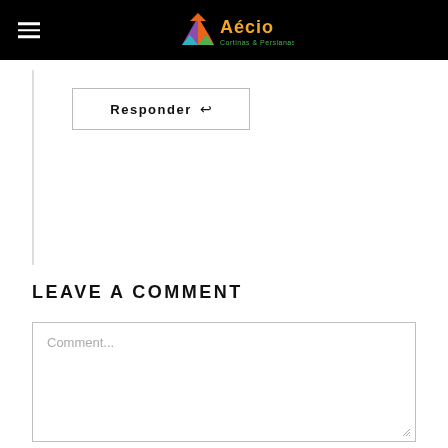[Figure (logo): Aécio Cortinas & Persianas logo with colorful triangular shapes and orange/yellow text on black header bar]
Responder ↩
LEAVE A COMMENT
Comment...